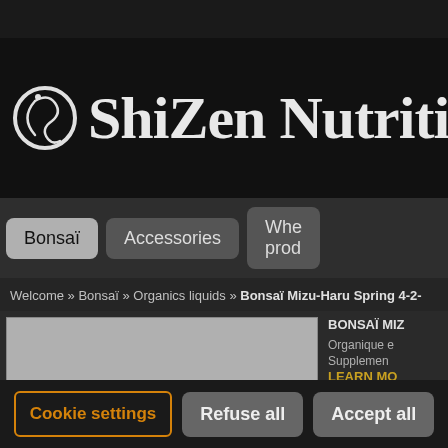[Figure (logo): ShiZen Nutrition logo — circular zen symbol followed by text 'ShiZen Nutriti...' in large serif font on black background]
Bonsaï
Accessories
Whe... prod...
Welcome » Bonsaï » Organics liquids » Bonsaï Mizu-Haru Spring 4-2-...
[Figure (photo): Product image placeholder — gray rectangle with rounded dark shape at bottom]
BONSAÏ MIZ...
Organique e... Supplemen... LEARN MO...
Cookie settings   Refuse all   Accept all